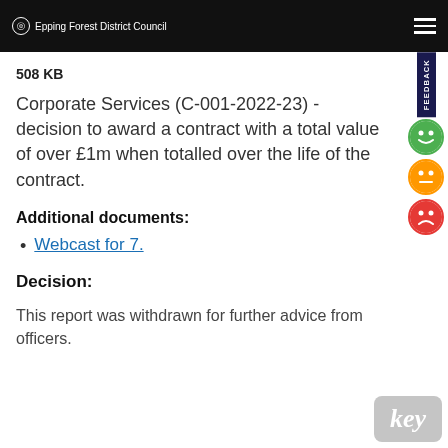Epping Forest District Council
508 KB
Corporate Services (C-001-2022-23) - decision to award a contract with a total value of over £1m when totalled over the life of the contract.
Additional documents:
Webcast for 7.
Decision:
This report was withdrawn for further advice from officers.